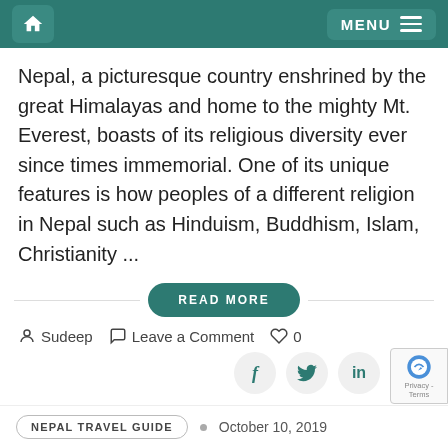Home | MENU
Nepal, a picturesque country enshrined by the great Himalayas and home to the mighty Mt. Everest, boasts of its religious diversity ever since times immemorial. One of its unique features is how peoples of a different religion in Nepal such as Hinduism, Buddhism, Islam, Christianity ...
READ MORE
Sudeep   Leave a Comment   0
f  y  in  (pinterest)
NEPAL TRAVEL GUIDE • October 10, 2019